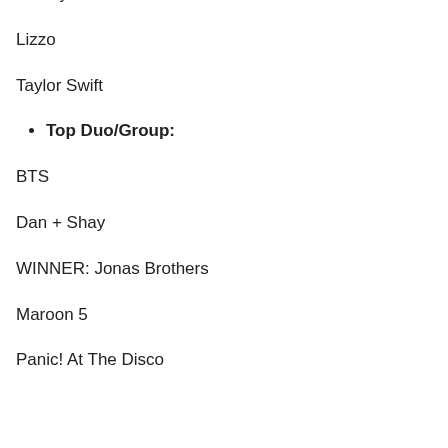Halsey
Lizzo
Taylor Swift
Top Duo/Group:
BTS
Dan + Shay
WINNER: Jonas Brothers
Maroon 5
Panic! At The Disco